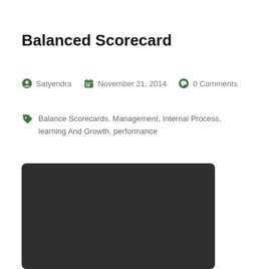Balanced Scorecard
Satyendra   November 21, 2014   0 Comments
Balance Scorecards. Management, Internal Process, learning And Growth, performance
[Figure (photo): Dark background image area, partially visible]